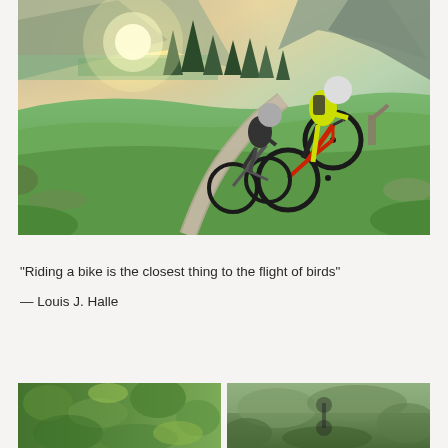[Figure (photo): Two mountain bikers riding downhill on a gravel path through a green alpine meadow with pine trees and mountains in the background, sun glaring in the upper left, one rider in yellow jersey and white helmet in front, another in dark clothes behind.]
“Riding a bike is the closest thing to the flight of birds”
— Louis J. Halle
[Figure (photo): Partial view of a bottom-left photo showing green nature/forest scene.]
[Figure (photo): Partial view of a bottom-right photo showing a outdoor/nature scene.]